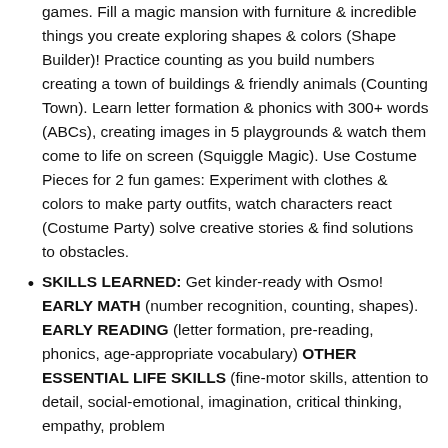games. Fill a magic mansion with furniture & incredible things you create exploring shapes & colors (Shape Builder)! Practice counting as you build numbers creating a town of buildings & friendly animals (Counting Town). Learn letter formation & phonics with 300+ words (ABCs), creating images in 5 playgrounds & watch them come to life on screen (Squiggle Magic). Use Costume Pieces for 2 fun games: Experiment with clothes & colors to make party outfits, watch characters react (Costume Party) solve creative stories & find solutions to obstacles.
SKILLS LEARNED: Get kinder-ready with Osmo! EARLY MATH (number recognition, counting, shapes). EARLY READING (letter formation, pre-reading, phonics, age-appropriate vocabulary) OTHER ESSENTIAL LIFE SKILLS (fine-motor skills, attention to detail, social-emotional, imagination, critical thinking, empathy, problem